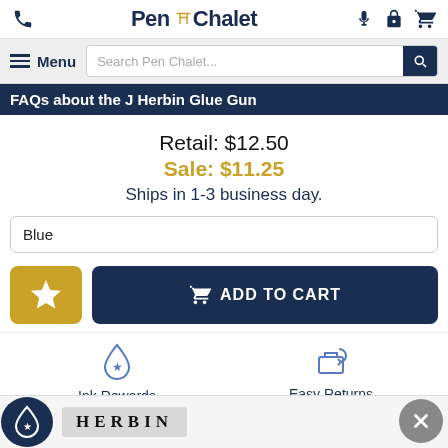Pen Chalet
FAQs about the J Herbin Glue Gun
Retail: $12.50
Sale: $11.25
Ships in 1-3 business day.
Blue (dropdown)
ADD TO CART
Ink Rewards
Easy Returns